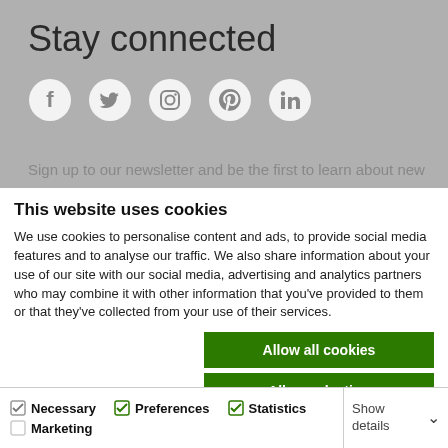Stay connected
[Figure (illustration): Social media icons for Facebook, Twitter, Instagram, Pinterest, and LinkedIn displayed as white circular icons on a grey background]
Sign up to our newsletter and be the first to learn about new
This website uses cookies
We use cookies to personalise content and ads, to provide social media features and to analyse our traffic. We also share information about your use of our site with our social media, advertising and analytics partners who may combine it with other information that you've provided to them or that they've collected from your use of their services.
Allow all cookies
Allow selection
Use necessary cookies only
Necessary  Preferences  Statistics  Marketing  Show details